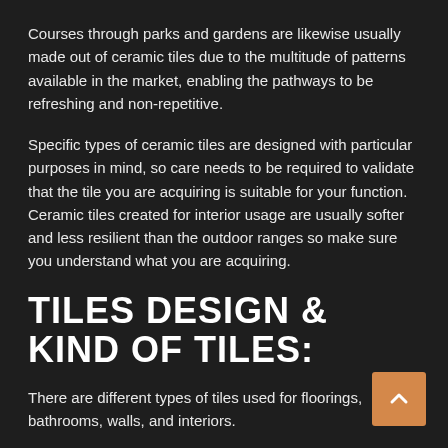Courses through parks and gardens are likewise usually made out of ceramic tiles due to the multitude of patterns available in the market, enabling the pathways to be refreshing and non-repetitive.
Specific types of ceramic tiles are designed with particular purposes in mind, so care needs to be required to validate that the tile you are acquiring is suitable for your function. Ceramic tiles created for interior usage are usually softer and less resilient than the outdoor ranges so make sure you understand what you are acquiring.
TILES DESIGN & KIND OF TILES:
There are different types of tiles used for floorings, bathrooms, walls, and interiors.